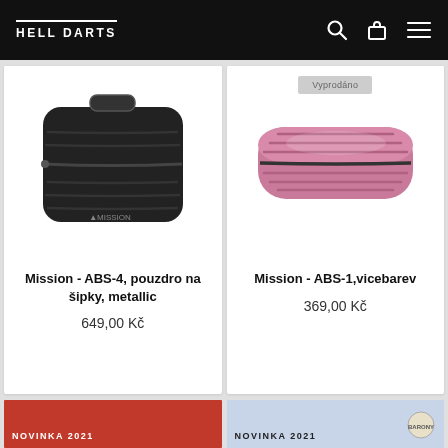HELL DARTS
[Figure (photo): Black Mission ABS-4 dart case with zipper and handle, metallic finish]
Mission - ABS-4, pouzdro na šipky, metallic
649,00 Kč
[Figure (photo): Pink/rose Mission ABS-1 dart case with zipper and ridged metallic exterior, with Vyprodáno (sold out) badge]
Mission - ABS-1,vicebarev
369,00 Kč
NOVINKA 2021
NOVINKA 2021